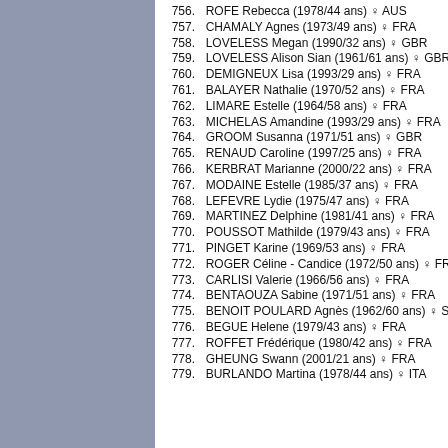756.  ROFE Rebecca (1978/44 ans) ♀ AUS
757.  CHAMALY Agnes (1973/49 ans) ♀ FRA
758.  LOVELESS Megan (1990/32 ans) ♀ GBR
759.  LOVELESS Alison Sian (1961/61 ans) ♀ GBR
760.  DEMIGNEUX Lisa (1993/29 ans) ♀ FRA
761.  BALAYER Nathalie (1970/52 ans) ♀ FRA
762.  LIMARE Estelle (1964/58 ans) ♀ FRA
763.  MICHELAS Amandine (1993/29 ans) ♀ FRA
764.  GROOM Susanna (1971/51 ans) ♀ GBR
765.  RENAUD Caroline (1997/25 ans) ♀ FRA
766.  KERBRAT Marianne (2000/22 ans) ♀ FRA
767.  MODAINE Estelle (1985/37 ans) ♀ FRA
768.  LEFEVRE Lydie (1975/47 ans) ♀ FRA
769.  MARTINEZ Delphine (1981/41 ans) ♀ FRA
770.  POUSSOT Mathilde (1979/43 ans) ♀ FRA
771.  PINGET Karine (1969/53 ans) ♀ FRA
772.  ROGER Céline - Candice (1972/50 ans) ♀ FRA
773.  CARLISI Valerie (1966/56 ans) ♀ FRA
774.  BENTAOUZA Sabine (1971/51 ans) ♀ FRA
775.  BENOIT POULARD Agnès (1962/60 ans) ♀ SUI
776.  BEGUE Helene (1979/43 ans) ♀ FRA
777.  ROFFET Frédérique (1980/42 ans) ♀ FRA
778.  GHEUNG Swann (2001/21 ans) ♀ FRA
779.  BURLANDO Martina (1978/44 ans) ♀ ITA